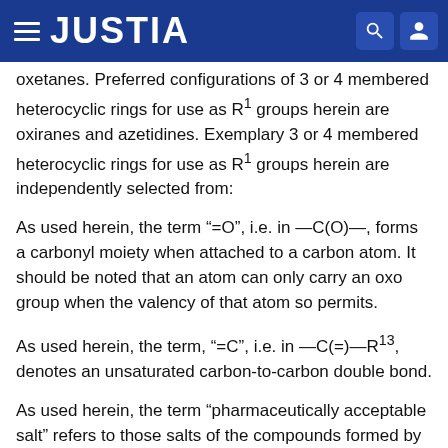JUSTIA
oxetanes. Preferred configurations of 3 or 4 membered heterocyclic rings for use as R1 groups herein are oxiranes and azetidines. Exemplary 3 or 4 membered heterocyclic rings for use as R1 groups herein are independently selected from:
As used herein, the term “=O”, i.e. in —C(O)—, forms a carbonyl moiety when attached to a carbon atom. It should be noted that an atom can only carry an oxo group when the valency of that atom so permits.
As used herein, the term, “=C”, i.e. in —C(=)—R13, denotes an unsaturated carbon-to-carbon double bond.
As used herein, the term “pharmaceutically acceptable salt” refers to those salts of the compounds formed by the process of the present invention which are, within the scope of sound medical judgment, suitable for use in